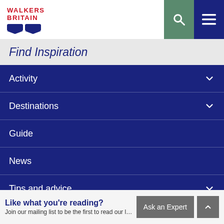WALKERS BRITAIN (logo with boats)
Find Inspiration
Activity
Destinations
Guide
News
Tips and advice
Travel inspiration
Traveller tales
Like what you're reading?
Join our mailing list to be the first to read our latest blog